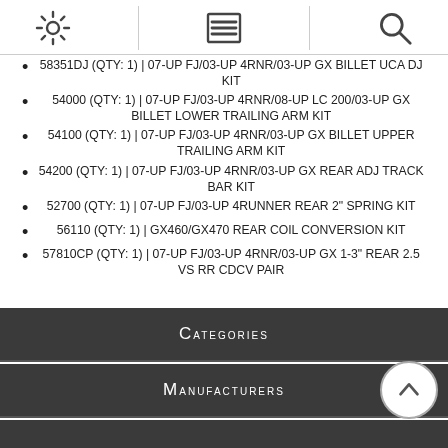Navigation bar with settings, menu, and search icons
58351DJ (QTY: 1) | 07-UP FJ/03-UP 4RNR/03-UP GX BILLET UCA DJ KIT
54000 (QTY: 1) | 07-UP FJ/03-UP 4RNR/08-UP LC 200/03-UP GX BILLET LOWER TRAILING ARM KIT
54100 (QTY: 1) | 07-UP FJ/03-UP 4RNR/03-UP GX BILLET UPPER TRAILING ARM KIT
54200 (QTY: 1) | 07-UP FJ/03-UP 4RNR/03-UP GX REAR ADJ TRACK BAR KIT
52700 (QTY: 1) | 07-UP FJ/03-UP 4RUNNER REAR 2" SPRING KIT
56110 (QTY: 1) | GX460/GX470 REAR COIL CONVERSION KIT
57810CP (QTY: 1) | 07-UP FJ/03-UP 4RNR/03-UP GX 1-3" REAR 2.5 VS RR CDCV PAIR
Categories
Manufacturers